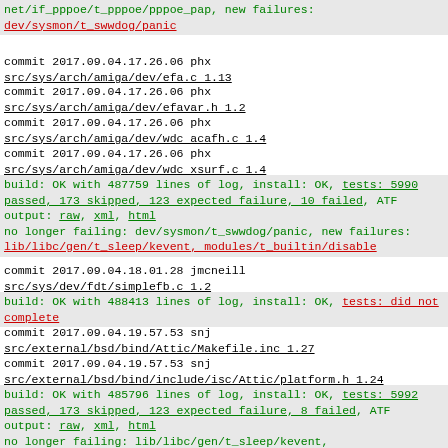net/if_pppoe/t_pppoe/pppoe_pap, new failures: dev/sysmon/t_swwdog/panic
commit 2017.09.04.17.26.06 phx
src/sys/arch/amiga/dev/efa.c 1.13
commit 2017.09.04.17.26.06 phx
src/sys/arch/amiga/dev/efavar.h 1.2
commit 2017.09.04.17.26.06 phx
src/sys/arch/amiga/dev/wdc_acafh.c 1.4
commit 2017.09.04.17.26.06 phx
src/sys/arch/amiga/dev/wdc_xsurf.c 1.4
build: OK with 487759 lines of log, install: OK, tests: 5990 passed, 173 skipped, 123 expected failure, 10 failed, ATF output: raw, xml, html
no longer failing: dev/sysmon/t_swwdog/panic, new failures: lib/libc/gen/t_sleep/kevent, modules/t_builtin/disable
commit 2017.09.04.18.01.28 jmcneill
src/sys/dev/fdt/simplefb.c 1.2
build: OK with 488413 lines of log, install: OK, tests: did not complete
commit 2017.09.04.19.57.53 snj
src/external/bsd/bind/Attic/Makefile.inc 1.27
commit 2017.09.04.19.57.53 snj
src/external/bsd/bind/include/isc/Attic/platform.h 1.24
build: OK with 485796 lines of log, install: OK, tests: 5992 passed, 173 skipped, 123 expected failure, 8 failed, ATF output: raw, xml, html
no longer failing: lib/libc/gen/t_sleep/kevent, modules/t_builtin/disable, net/if_pppoe/t_pppoe/pppoe6_pap, new failures: